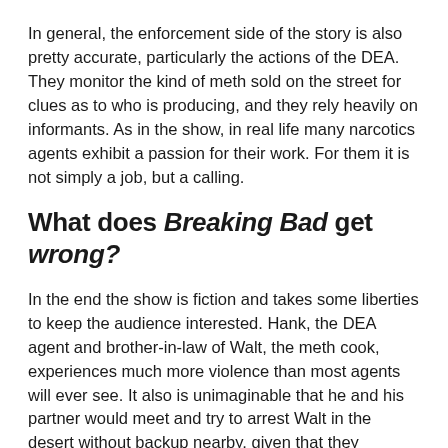In general, the enforcement side of the story is also pretty accurate, particularly the actions of the DEA. They monitor the kind of meth sold on the street for clues as to who is producing, and they rely heavily on informants. As in the show, in real life many narcotics agents exhibit a passion for their work. For them it is not simply a job, but a calling.
What does Breaking Bad get wrong?
In the end the show is fiction and takes some liberties to keep the audience interested. Hank, the DEA agent and brother-in-law of Walt, the meth cook, experiences much more violence than most agents will ever see. It also is unimaginable that he and his partner would meet and try to arrest Walt in the desert without backup nearby, given that they consider him both a major producer/distributor of